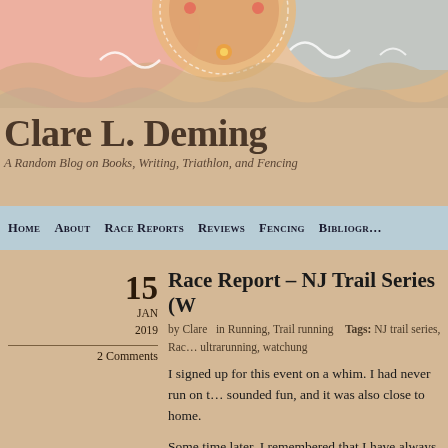[Figure (illustration): Decorative blog header banner with colorful mandala/circular art, waves, and swirl patterns in pinks, blues, and oranges on a warm beige background]
Clare L. Deming
A Random Blog on Books, Writing, Triathlon, and Fencing
Home   About   Race Reports   Reviews   Fencing   Bibliogr.
Race Report – NJ Trail Series (W…
by Clare   in Running, Trail running   Tags: NJ trail series, Rac… ultrarunning, watchung
2 Comments
I signed up for this event on a whim. I had never run on t… sounded fun, and it was also close to home.
Some time later, I remembered that I have always though… idea. I mean, I like hiking. But the thought of running on… probably roll one of my already busted ankles just soun…